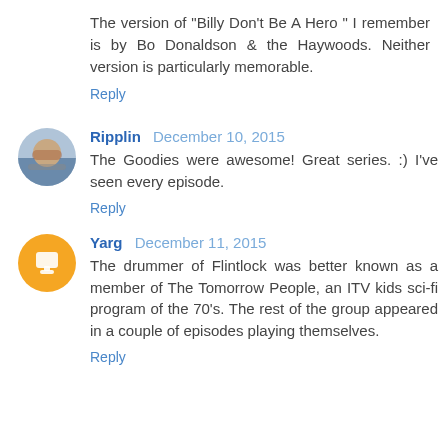The version of "Billy Don't Be A Hero " I remember is by Bo Donaldson & the Haywoods. Neither version is particularly memorable.
Reply
Ripplin  December 10, 2015
The Goodies were awesome! Great series. :) I've seen every episode.
Reply
Yarg  December 11, 2015
The drummer of Flintlock was better known as a member of The Tomorrow People, an ITV kids sci-fi program of the 70's. The rest of the group appeared in a couple of episodes playing themselves.
Reply